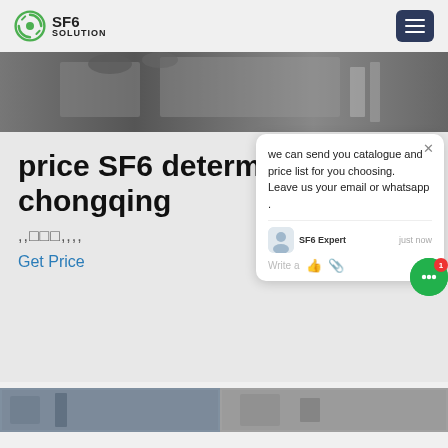SF6 SOLUTION
[Figure (photo): Hero image showing industrial/electrical equipment installation, partially visible boots and cable conduit]
price SF6 determination chongqing
,,□□□,,,,
Get Price
[Figure (screenshot): Chat popup overlay: 'we can send you catalogue and price list for you choosing. Leave us your email or whatsapp .' with SF6 Expert agent avatar and just now timestamp, Write a message field with thumbs up and paperclip icons]
[Figure (photo): Bottom strip showing two side-by-side industrial equipment photos partially visible]